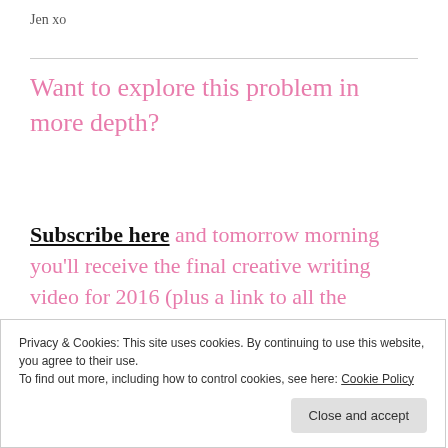Jen xo
Want to explore this problem in more depth?
Subscribe here and tomorrow morning you'll receive the final creative writing video for 2016 (plus a link to all the others).
Privacy & Cookies: This site uses cookies. By continuing to use this website, you agree to their use.
To find out more, including how to control cookies, see here: Cookie Policy
Close and accept